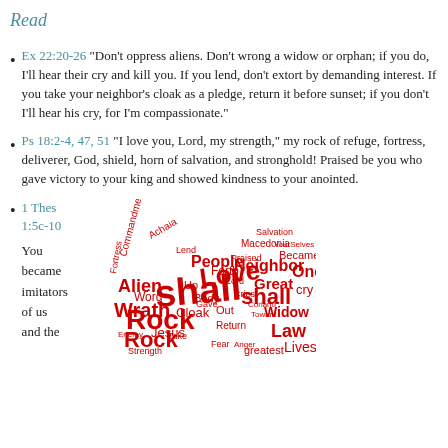Read
Ex 22:20-26  "Don't oppress aliens.  Don't wrong a widow or orphan; if you do, I'll hear their cry and kill you.  If you lend, don't extort by demanding interest.  If you take your neighbor's cloak as a pledge, return it before sunset; if you don't I'll hear his cry, for I'm compassionate."
Ps 18:2-4, 47, 51  "I love you, Lord, my strength," my rock of refuge, fortress, deliverer, God, shield, horn of salvation, and stronghold!  Praised be you who gave victory to your king and showed kindness to your anointed.
1 Thes 1:5c-10  You became imitators of us and the
[Figure (illustration): Word cloud in the shape of a heart, featuring religious and biblical words in red text of varying sizes including: Love, shall, Rock, Wrath, Alien, People, Neighbor, Great, One, cry, Widow, Law, Lives, Jesus, Word, Cloak, Forth, Commandment, Achaia, Macedonia, and many others.]